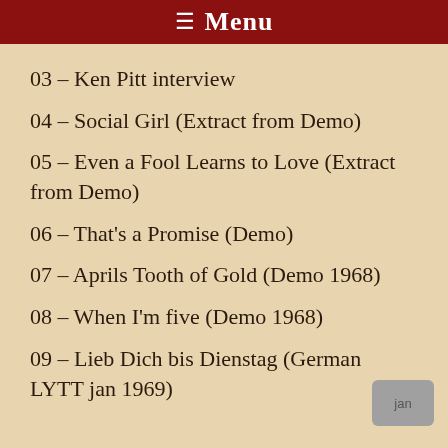≡ Menu
03 – Ken Pitt interview
04 – Social Girl (Extract from Demo)
05 – Even a Fool Learns to Love (Extract from Demo)
06 – That's a Promise (Demo)
07 – Aprils Tooth of Gold (Demo 1968)
08 – When I'm five (Demo 1968)
09 – Lieb Dich bis Dienstag (German LYTT jan 1969)